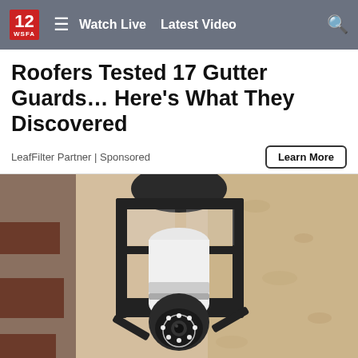12 WSFA  ≡  Watch Live  Latest Video  🔍
Roofers Tested 17 Gutter Guards… Here's What They Discovered
LeafFilter Partner | Sponsored
[Figure (photo): A security camera shaped like a light bulb installed inside a black wall-mounted lantern fixture on a stucco exterior wall]
Homeowners Are Trading In Their Doorbell